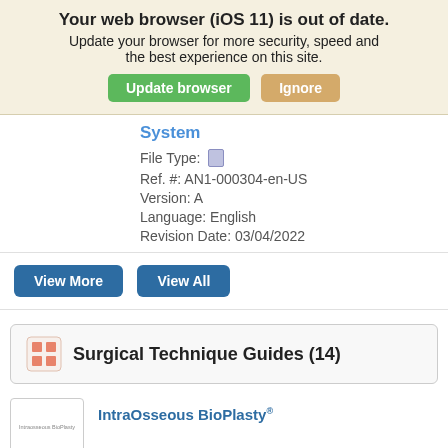Your web browser (iOS 11) is out of date. Update your browser for more security, speed and the best experience on this site. [Update browser] [Ignore]
System
File Type:
Ref. #: AN1-000304-en-US
Version: A
Language: English
Revision Date: 03/04/2022
View More   View All
Surgical Technique Guides (14)
IntraOsseous BioPlasty®